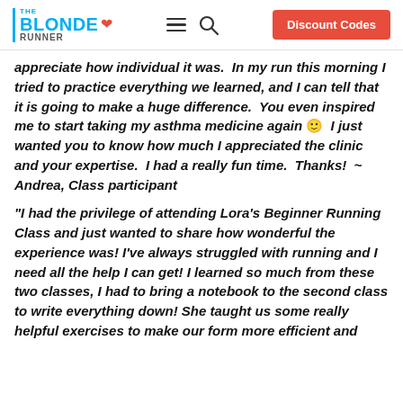THE BLONDE RUNNER | Discount Codes
appreciate how individual it was.  In my run this morning I tried to practice everything we learned, and I can tell that it is going to make a huge difference.  You even inspired me to start taking my asthma medicine again 🙂  I just wanted you to know how much I appreciated the clinic and your expertise.  I had a really fun time.  Thanks!  ~ Andrea, Class participant
"I had the privilege of attending Lora's Beginner Running Class and just wanted to share how wonderful the experience was! I've always struggled with running and I need all the help I can get! I learned so much from these two classes, I had to bring a notebook to the second class to write everything down! She taught us some really helpful exercises to make our form more efficient and